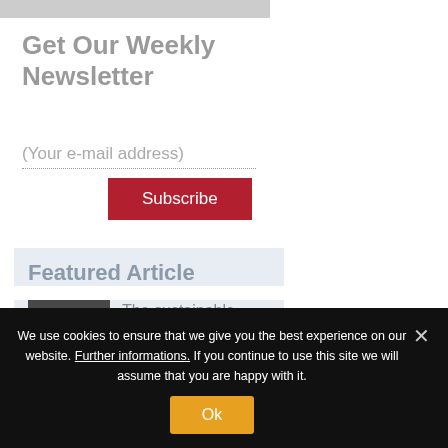[Figure (photo): Partial screenshot top bar showing an image or banner]
Get Our Weekly Newsletter
(Your e-mail address)
Subscribe
Featured Article
[Figure (photo): Black and white photo of a crowd or industrial scene]
The sustainable peak load concept and public
We use cookies to ensure that we give you the best experience on our website. Further informations. If you continue to use this site we will assume that you are happy with it.
Ok